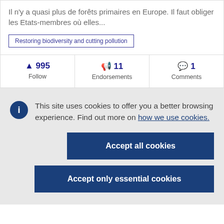Il n'y a quasi plus de forêts primaires en Europe. Il faut obliger les Etats-membres où elles...
Restoring biodiversity and cutting pollution
995 Follow
11 Endorsements
1 Comments
This site uses cookies to offer you a better browsing experience. Find out more on how we use cookies.
Accept all cookies
Accept only essential cookies